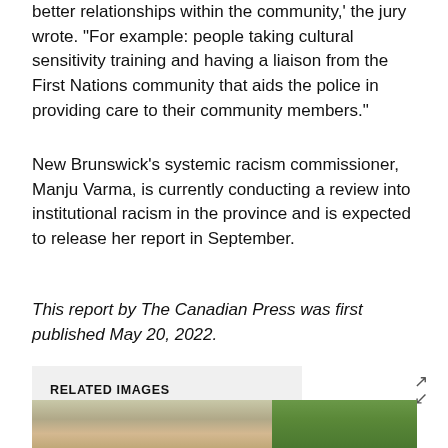better relationships within the community,' the jury wrote. "For example: people taking cultural sensitivity training and having a liaison from the First Nations community that aids the police in providing care to their community members."
New Brunswick's systemic racism commissioner, Manju Varma, is currently conducting a review into institutional racism in the province and is expected to release her report in September.
This report by The Canadian Press was first published May 20, 2022.
RELATED IMAGES
[Figure (photo): Portrait photo of a person, partially visible at bottom of page]